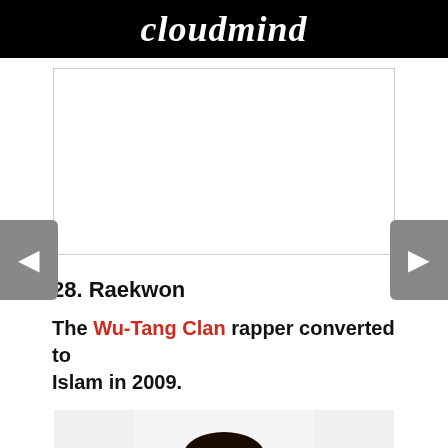cloudmind
[Figure (other): Advertisement placeholder box, white rectangle with border]
28. Raekwon
The Wu-Tang Clan rapper converted to Islam in 2009.
[Figure (photo): Photo of Raekwon, a heavyset Black man wearing a black hoodie, looking directly at camera against a white background]